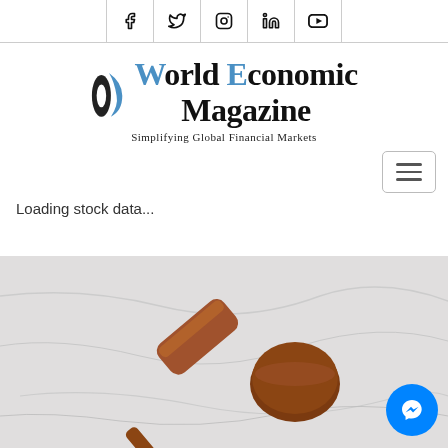Social media icons: Facebook, Twitter, Instagram, LinkedIn, YouTube
[Figure (logo): World Economic Magazine logo with blue and black graphic icon and serif text. Tagline: Simplifying Global Financial Markets]
[Figure (other): Hamburger navigation menu button]
Loading stock data...
[Figure (photo): Photo of a wooden judge gavel and sound block on a white marble surface, viewed from above]